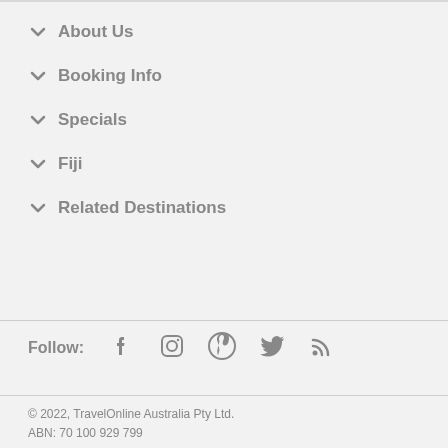About Us
Booking Info
Specials
Fiji
Related Destinations
Follow:
© 2022, TravelOnline Australia Pty Ltd.
ABN: 70 100 929 799